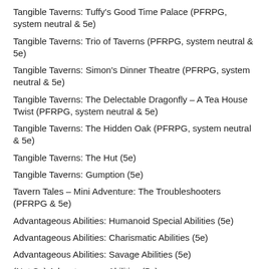Tangible Taverns: Tuffy's Good Time Palace (PFRPG, system neutral & 5e)
Tangible Taverns: Trio of Taverns (PFRPG, system neutral & 5e)
Tangible Taverns: Simon's Dinner Theatre (PFRPG, system neutral & 5e)
Tangible Taverns: The Delectable Dragonfly – A Tea House Twist (PFRPG, system neutral & 5e)
Tangible Taverns: The Hidden Oak (PFRPG, system neutral & 5e)
Tangible Taverns: The Hut (5e)
Tangible Taverns: Gumption (5e)
Tavern Tales – Mini Adventure: The Troubleshooters (PFRPG & 5e)
Advantageous Abilities: Humanoid Special Abilities (5e)
Advantageous Abilities: Charismatic Abilities (5e)
Advantageous Abilities: Savage Abilities (5e)
(Not So) Advantageous Abilities (5e)